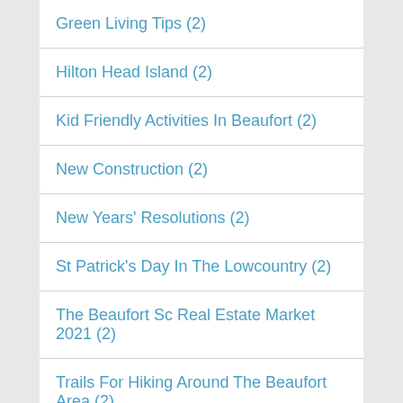Green Living Tips (2)
Hilton Head Island (2)
Kid Friendly Activities In Beaufort (2)
New Construction (2)
New Years' Resolutions (2)
St Patrick's Day In The Lowcountry (2)
The Beaufort Sc Real Estate Market 2021 (2)
Trails For Hiking Around The Beaufort Area (2)